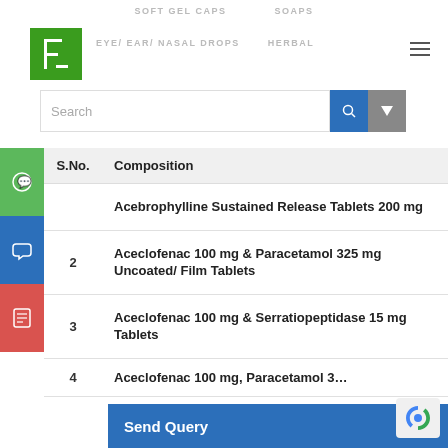SOFT GEL CAPS   SOAPS   EYE/ EAR/ NASAL DROPS   HERBAL
[Figure (logo): Green square logo with white letter K and plant/column icon]
| S.No. | Composition |
| --- | --- |
| 1 | Acebrophylline Sustained Release Tablets 200 mg |
| 2 | Aceclofenac 100 mg & Paracetamol 325 mg Uncoated/ Film Tablets |
| 3 | Aceclofenac 100 mg & Serratiopeptidase 15 mg Tablets |
| 4 | Aceclofenac 100 mg, Paracetamol 3… |
Send Query